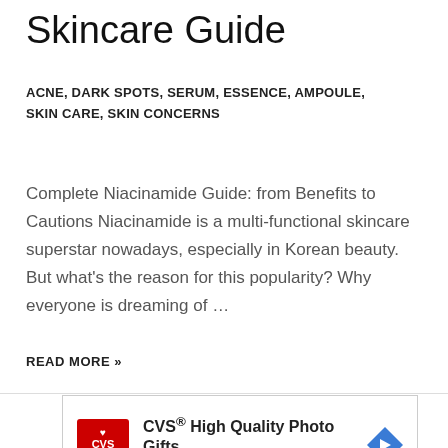Skincare Guide
ACNE, DARK SPOTS, SERUM, ESSENCE, AMPOULE, SKIN CARE, SKIN CONCERNS
Complete Niacinamide Guide: from Benefits to Cautions Niacinamide is a multi-functional skincare superstar nowadays, especially in Korean beauty. But what's the reason for this popularity? Why everyone is dreaming of …
READ MORE »
[Figure (other): CVS Pharmacy advertisement: CVS® High Quality Photo Gifts — CVS Photo, with CVS logo and navigation arrow icon]